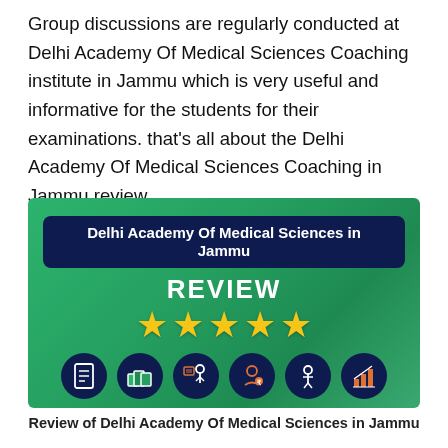Group discussions are regularly conducted at Delhi Academy Of Medical Sciences Coaching institute in Jammu which is very useful and informative for the students for their examinations. that's all about the Delhi Academy Of Medical Sciences Coaching in Jammu review.
[Figure (infographic): Review banner for Delhi Academy Of Medical Sciences in Jammu showing a green background with a dark navy title badge, the word REVIEW in white bold text, five gold stars, and six circular dark navy icons representing different services or features.]
Review of Delhi Academy Of Medical Sciences in Jammu